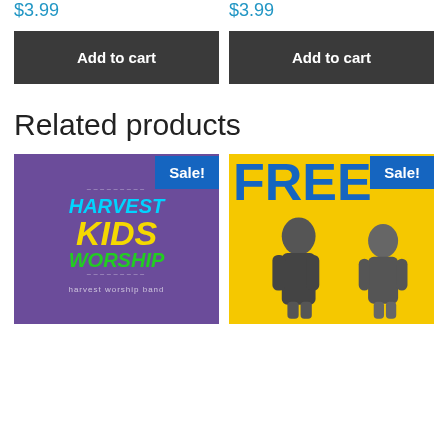$3.99
$3.99
Add to cart
Add to cart
Related products
[Figure (photo): Harvest Kids Worship album cover with purple background, teal 'HARVEST', yellow 'KIDS', green 'WORSHIP' text, and 'harvest worship band' subtitle. Sale badge in top right.]
[Figure (photo): Yellow background image with large blue 'FREE' text and two girls in dark t-shirts. Sale badge in top right.]